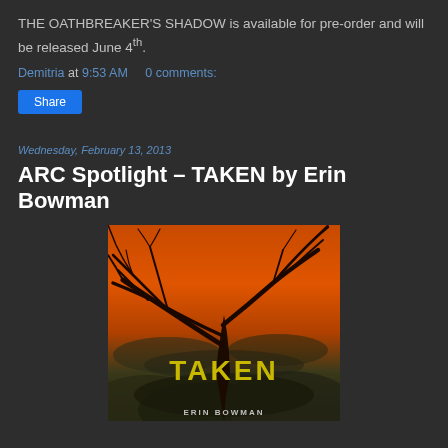THE OATHBREAKER'S SHADOW is available for pre-order and will be released June 4th.
Demitria at 9:53 AM   0 comments:
Share
Wednesday, February 13, 2013
ARC Spotlight – TAKEN by Erin Bowman
[Figure (photo): Book cover of TAKEN by Erin Bowman showing bare dark tree branches against a dramatic orange and dark cloudy sky with the title TAKEN in yellow/green letters and author name ERIN BOWMAN at the bottom]